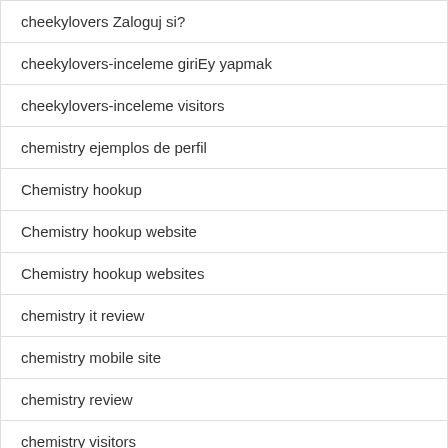| cheekylovers Zaloguj si? |
| cheekylovers-inceleme giriEy yapmak |
| cheekylovers-inceleme visitors |
| chemistry ejemplos de perfil |
| Chemistry hookup |
| Chemistry hookup website |
| Chemistry hookup websites |
| chemistry it review |
| chemistry mobile site |
| chemistry review |
| chemistry visitors |